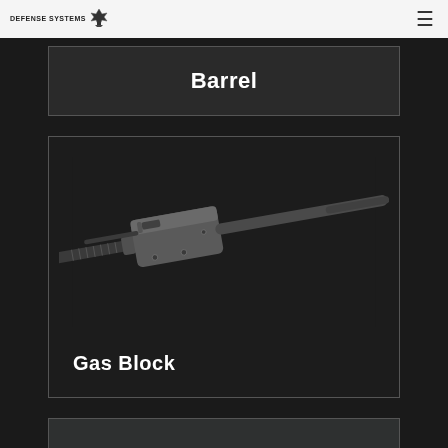DEFENSE SYSTEMS
Barrel
[Figure (photo): Close-up 3D render of a rifle barrel with a gas block component attached, shown diagonally against a dark background. The gas block is a rectangular/cylindrical metallic block clamped around the barrel tube, with visible screws. Label reads 'Gas Block'.]
Gas Block